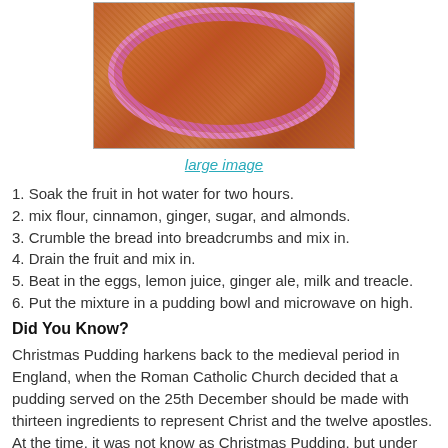[Figure (photo): A pink bowl filled with Christmas pudding mixture, a brown/orange chunky mixture, photographed from above on a light surface]
large image
1. Soak the fruit in hot water for two hours.
2. mix flour, cinnamon, ginger, sugar, and almonds.
3. Crumble the bread into breadcrumbs and mix in.
4. Drain the fruit and mix in.
5. Beat in the eggs, lemon juice, ginger ale, milk and treacle.
6. Put the mixture in a pudding bowl and microwave on high.
Did You Know?
Christmas Pudding harkens back to the medieval period in England, when the Roman Catholic Church decided that a pudding served on the 25th December should be made with thirteen ingredients to represent Christ and the twelve apostles. At the time, it was not know as Christmas Pudding, but under many other guises such as plum pudding, sust...